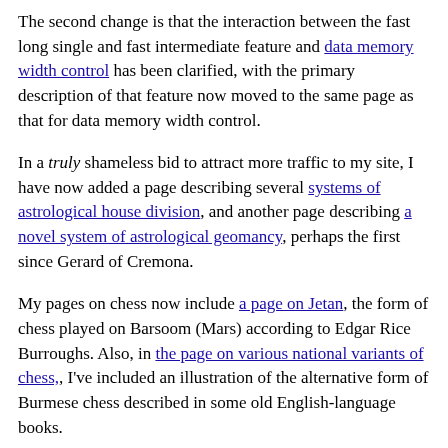The second change is that the interaction between the fast long single and fast intermediate feature and data memory width control has been clarified, with the primary description of that feature now moved to the same page as that for data memory width control.
In a truly shameless bid to attract more traffic to my site, I have now added a page describing several systems of astrological house division, and another page describing a novel system of astrological geomancy, perhaps the first since Gerard of Cremona.
My pages on chess now include a page on Jetan, the form of chess played on Barsoom (Mars) according to Edgar Rice Burroughs. Also, in the page on various national variants of chess,, I've included an illustration of the alternative form of Burmese chess described in some old English-language books.
A new page with a brief account of how the positions of the planets and the Moon can be calculated to a first approximation.